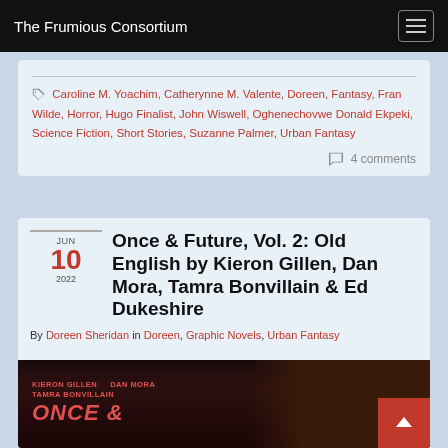The Frumious Consortium
Caroline M. Yoachim, Catherynne M. Valente, Doreen, Fantasy, Fran Wilde, Horror, Hugo Finalist, John Wiswell, Oghenechovwe Donald Ekpeki, Science Fiction, Short Stories, Suzanne Palmer, Urban Fantasy
4 comments
Once & Future, Vol. 2: Old English by Kieron Gillen, Dan Mora, Tamra Bonvillain & Ed Dukeshire
By Doreen Sheridan in Doreen, Graphic Novels, Urban Fantasy
[Figure (photo): Partial book cover for Once & Future showing the title text in red on dark background with authors listed: Kieron Gillen, Dan Mora, Tamra Bonvillain]